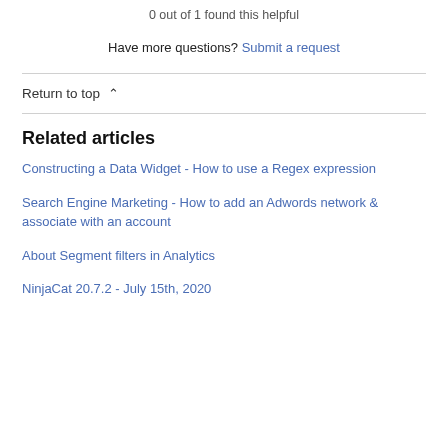0 out of 1 found this helpful
Have more questions? Submit a request
Return to top
Related articles
Constructing a Data Widget - How to use a Regex expression
Search Engine Marketing - How to add an Adwords network & associate with an account
About Segment filters in Analytics
NinjaCat 20.7.2 - July 15th, 2020